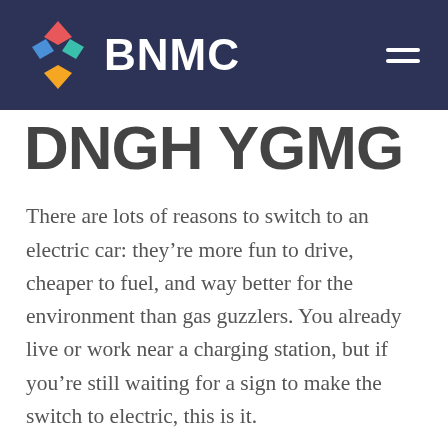[Figure (logo): BNMC logo with colorful diamond shapes and white text on dark navy header bar]
DNGH YGMG
There are lots of reasons to switch to an electric car: they’re more fun to drive, cheaper to fuel, and way better for the environment than gas guzzlers. You already live or work near a charging station, but if you’re still waiting for a sign to make the switch to electric, this is it.